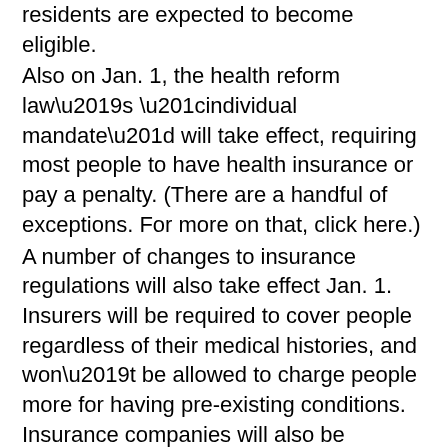residents are expected to become eligible.
Also on Jan. 1, the health reform law’s “individual mandate” will take effect, requiring most people to have health insurance or pay a penalty. (There are a handful of exceptions. For more on that, click here.)
A number of changes to insurance regulations will also take effect Jan. 1. Insurers will be required to cover people regardless of their medical histories, and won’t be allowed to charge people more for having pre-existing conditions. Insurance companies will also be prohibited from charging different rates for men and women, and there will be limits on how much premiums can vary based on a person’s age.
2. What is the health insurance exchange? What is Access Health CT?